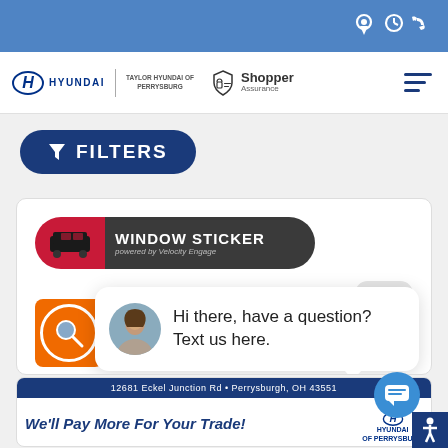[Figure (screenshot): Top blue navigation bar with location, clock, and phone icons on right]
[Figure (logo): Hyundai logo with Taylor Hyundai of Perrysburg text, Shopper Assurance logo, and hamburger menu]
[Figure (screenshot): Dark blue FILTERS button with funnel icon]
[Figure (screenshot): Window Sticker banner (red and dark grey pill shape) with car icon, text WINDOW STICKER powered by Velocity Engage]
[Figure (screenshot): Close button (grey pill), orange search icon with magnifier, and chat popup with female avatar and text: Hi there, have a question? Text us here.]
Hi there, have a question? Text us here.
[Figure (screenshot): Bottom card: address bar '12681 Eckel Junction Rd • Perrysburgh, OH 43551', trade banner 'We'll Pay More For Your Trade!' with Taylor Hyundai of Perrysburg badge]
12681 Eckel Junction Rd • Perrysburgh, OH 43551
We'll Pay More For Your Trade!